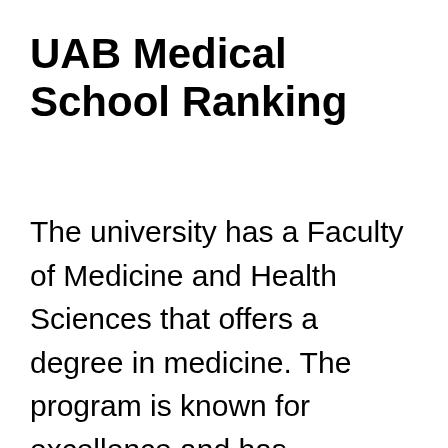UAB Medical School Ranking
The university has a Faculty of Medicine and Health Sciences that offers a degree in medicine. The program is known for excellence and has continued to deliver the best medical professionals. The medical program has a strong practical component, including rotations and clinical practice for primary care and